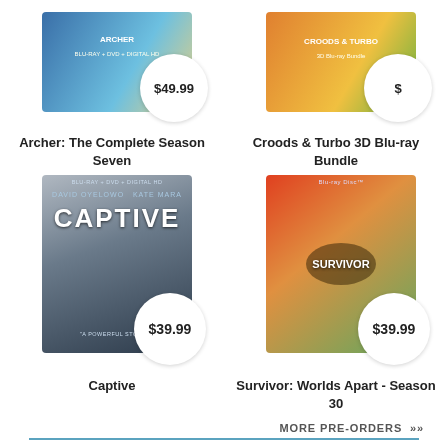[Figure (photo): Archer: The Complete Season Seven Blu-ray product with price bubble $49.99]
Archer: The Complete Season Seven
[Figure (photo): Croods & Turbo 3D Blu-ray Bundle product with price bubble $]
Croods & Turbo 3D Blu-ray Bundle
[Figure (photo): Captive Blu-ray product with price bubble $39.99]
Captive
[Figure (photo): Survivor: Worlds Apart - Season 30 Blu-ray product with price bubble $39.99]
Survivor: Worlds Apart - Season 30
MORE PRE-ORDERS
Amazon Best Sellers & Deals